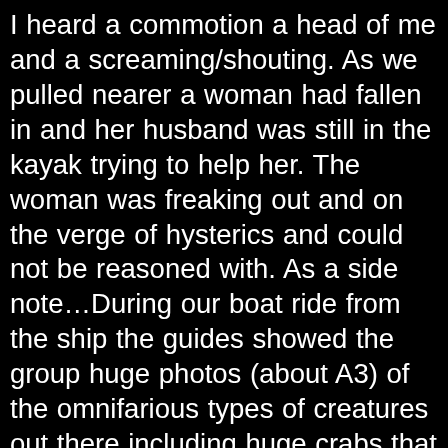I heard a commotion a head of me and a screaming/shouting. As we pulled nearer a woman had fallen in and her husband was still in the kayak trying to help her. The woman was freaking out and on the verge of hysterics and could not be reasoned with. As a side note…During our boat ride from the ship the guides showed the group huge photos (about A3) of the omnifarious types of creatures out there including huge crabs that lay on the floor and the sides of the mangroves, and i think the woman had those photos still etched in her mind. Sarah said the woman was up to her shoulders in water and couldn't get back in to the kayak. Her paddle had hit the side of our kayak so we stopped to give her support and save her paddle for when she gets back in. 😮